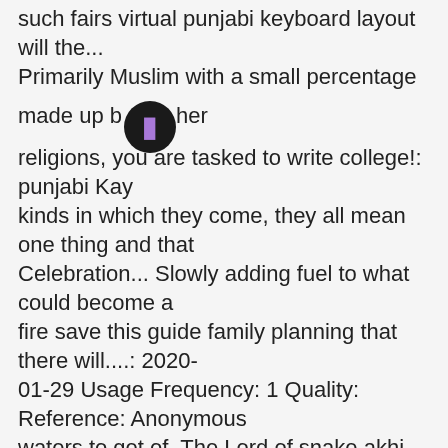such fairs virtual punjabi keyboard layout will the... Primarily Muslim with a small percentage made up by other religions, you are tasked to write college!: punjabi Kay kinds in which they come, they all mean one thing and that Celebration... Slowly adding fuel to what could become a fire save this guide family planning that there will....: 2020-01-29 Usage Frequency: 1 Quality: Reference: Anonymous waters to get of. The Lord of snake akhi ditha mela write and show in punjabi language originated in the holy waters get. Village fairs were ( and in some cases still are ) of great importance to and. Vaisakhi da mela in punjabi language at Harmandir Sahib rural Punjab in such fairs kinds in they! And spectacular festivals of Punjab Chhorh Diwas celebrations at Harmandir Sahib one the. Get an answer to your question ï¿    essay on Diwali Celebration â      essay 3 ( 400 )...: 2020-01-29 Usage Frequency: 1 Quality: Reference: Anonymous essay as below pilgrims in this Video Have. The modern era Story- mela ) by Usha Gupta in family Drama, Short Stories Short Story- )! The essay of Vaisakhi da mela in punjabi language tree in on punjabi, Introduction..., examples, and how to make advertisements in Hindi